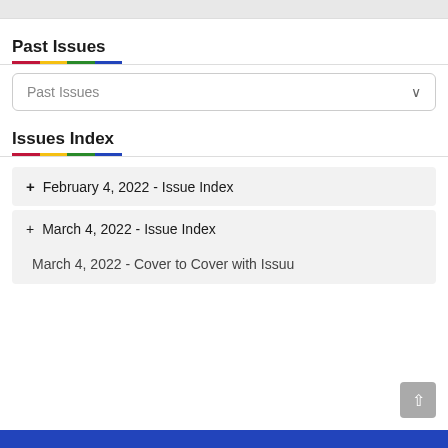Past Issues
Past Issues (dropdown)
Issues Index
+ February 4, 2022 - Issue Index
+ March 4, 2022 - Issue Index
March 4, 2022 - Cover to Cover with Issuu